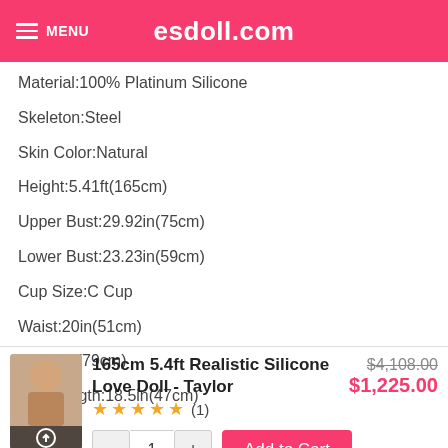esdoll.com
Material:100% Platinum Silicone
Skeleton:Steel
Skin Color:Natural
Height:5.41ft(165cm)
Upper Bust:29.92in(75cm)
Lower Bust:23.23in(59cm)
Cup Size:C Cup
Waist:20in(51cm)
Hip:31in(79cm)
Arm Length:18.5in(47cm)
[Figure (photo): Thumbnail image of 165cm 5.4ft Realistic Silicone Love Doll - Taylor]
165cm 5.4ft Realistic Silicone Love Doll - Taylor
★★★★★ (1)
$4,108.00
$1,225.00
- 1 + Add to Cart